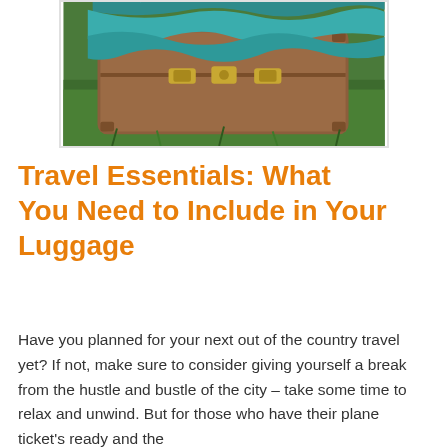[Figure (photo): A brown vintage leather suitcase sitting on green grass, with a teal/green knitted scarf or shawl draped over the top. The suitcase has brass latches and a leather handle.]
Travel Essentials: What You Need to Include in Your Luggage
Have you planned for your next out of the country travel yet? If not, make sure to consider giving yourself a break from the hustle and bustle of the city – take some time to relax and unwind. But for those who have their plane ticket's ready and the